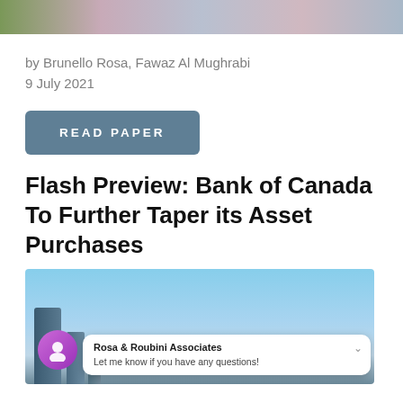[Figure (photo): Top decorative image strip showing a crowd/outdoor scene with colorful elements]
by Brunello Rosa, Fawaz Al Mughrabi
9 July 2021
READ PAPER
Flash Preview: Bank of Canada To Further Taper its Asset Purchases
[Figure (photo): City skyline photograph with blue sky and buildings, overlaid with a chat widget from Rosa & Roubini Associates saying 'Let me know if you have any questions!']